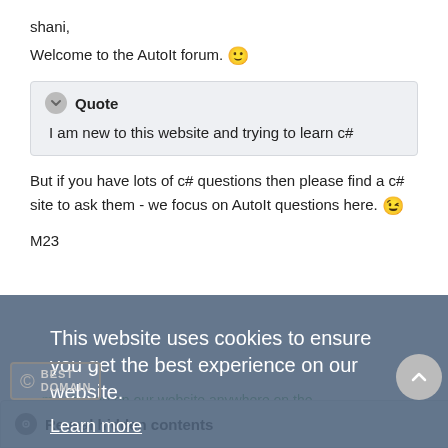shani,
Welcome to the AutoIt forum. 🙂
Quote
I am new to this website and trying to learn c#
But if you have lots of c# questions then please find a c# site to ask them - we focus on AutoIt questions here. 😉
M23
This website uses cookies to ensure you get the best experience on our website.
Learn more
Got it!
Open spoiler to see my UDFs.
Reveal hidden contents